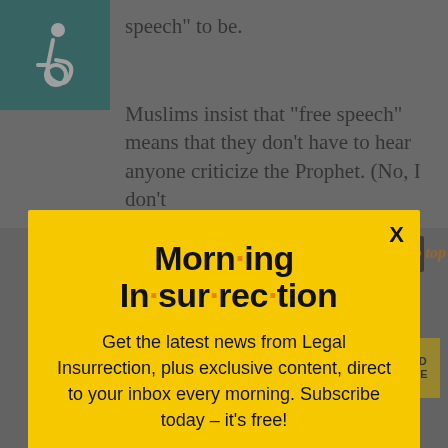[Figure (screenshot): Screenshot of a webpage with a modal newsletter subscription popup over background article text. Background shows an accessibility icon (wheelchair symbol) in teal, article text about free speech and Muslims. Modal is yellow with 'Morning Insurrection' branding, newsletter signup text, and orange JOIN NOW button. Bottom shows a secondary close button and a 'The Perspective' advertisement bar.]
speech” to be.
Muslims insist that “free speech” means that they don’t have to hear anyone criticize the Prophet. (No, I don’t
Morn·ing In·sur·rec·tion
Get the latest news from Legal Insurrection, plus exclusive content, direct to your inbox every morning. Subscribe today – it’s free!
JOIN NOW
speech”.
Back to top
[Figure (infographic): The Perspective advertisement bar: white triangle on left, dark background with 'THE PERSPECTIVE' text and 'SEE WHAT YOU'RE MISSING' tagline, teal section, yellow 'READ MORE' button on right.]
in “free speech” in any way which